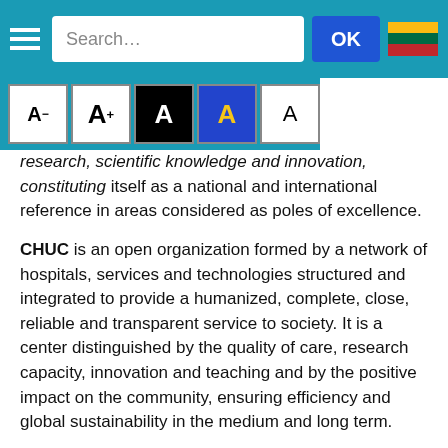Navigation bar with hamburger menu, search box, OK button, and Lithuanian flag
research, scientific knowledge and innovation, constituting itself as a national and international reference in areas considered as poles of excellence.
CHUC is an open organization formed by a network of hospitals, services and technologies structured and integrated to provide a humanized, complete, close, reliable and transparent service to society. It is a center distinguished by the quality of care, research capacity, innovation and teaching and by the positive impact on the community, ensuring efficiency and global sustainability in the medium and long term.
Values and Principles
a) Public service with primacy in the patient.
b) Respect for human dignity, cultural and religious diversity and the rights of the sick;